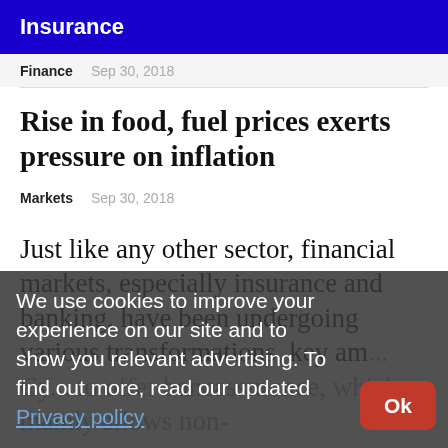Insurance
Finance   Sep 30, 2018
Rise in food, fuel prices exerts pressure on inflation
Markets   Sep 30, 2018
Just like any other sector, financial markets, especially insurance and banking, have been undergoing various transformations, key am... Cy... to offer bancassurance, which mainly allows non-
We use cookies to improve your experience on our site and to show you relevant advertising. To find out more, read our updated Privacy policy